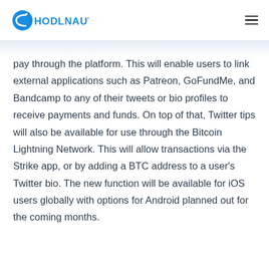HODLNAUT
pay through the platform. This will enable users to link external applications such as Patreon, GoFundMe, and Bandcamp to any of their tweets or bio profiles to receive payments and funds. On top of that, Twitter tips will also be available for use through the Bitcoin Lightning Network. This will allow transactions via the Strike app, or by adding a BTC address to a user's Twitter bio. The new function will be available for iOS users globally with options for Android planned out for the coming months.